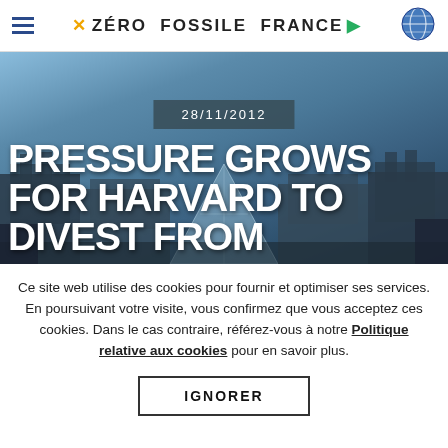ZÉRO FOSSILE FRANCE
[Figure (photo): Hero image of the Louvre pyramid in Paris with people in foreground, overlaid with date badge '28/11/2012' and bold title text 'PRESSURE GROWS FOR HARVARD TO DIVEST FROM']
Ce site web utilise des cookies pour fournir et optimiser ses services. En poursuivant votre visite, vous confirmez que vous acceptez ces cookies. Dans le cas contraire, référez-vous à notre Politique relative aux cookies pour en savoir plus.
IGNORER